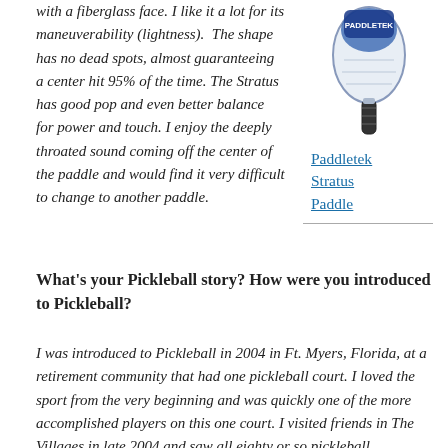with a fiberglass face. I like it a lot for its maneuverability (lightness). The shape has no dead spots, almost guaranteeing a center hit 95% of the time. The Stratus has good pop and even better balance for power and touch. I enjoy the deeply throated sound coming off the center of the paddle and would find it very difficult to change to another paddle.
[Figure (photo): Photo of a Paddletek Stratus pickleball paddle with blue and white design]
Paddletek Stratus Paddle
What's your Pickleball story? How were you introduced to Pickleball?
I was introduced to Pickleball in 2004 in Ft. Myers, Florida, at a retirement community that had one pickleball court. I loved the sport from the very beginning and was quickly one of the more accomplished players on this one court. I visited friends in The Villages in late 2004 and saw all eighty or so pickleball